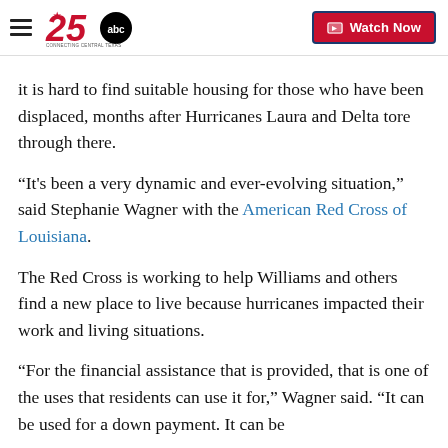KXXV-TV — 25 ABC Connecting Central Texas | Watch Now
it is hard to find suitable housing for those who have been displaced, months after Hurricanes Laura and Delta tore through there.
“It's been a very dynamic and ever-evolving situation,” said Stephanie Wagner with the American Red Cross of Louisiana.
The Red Cross is working to help Williams and others find a new place to live because hurricanes impacted their work and living situations.
“For the financial assistance that is provided, that is one of the uses that residents can use it for,” Wagner said. “It can be used for a down payment. It can be